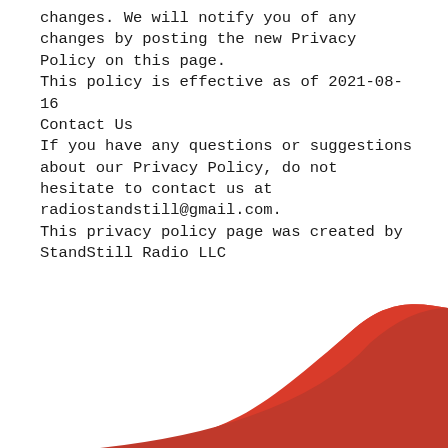changes. We will notify you of any changes by posting the new Privacy Policy on this page.
This policy is effective as of 2021-08-16
Contact Us
If you have any questions or suggestions about our Privacy Policy, do not hesitate to contact us at radiostandstill@gmail.com.
This privacy policy page was created by StandStill Radio LLC
[Figure (illustration): Red wave/swoosh decorative graphic element at the bottom of the page]